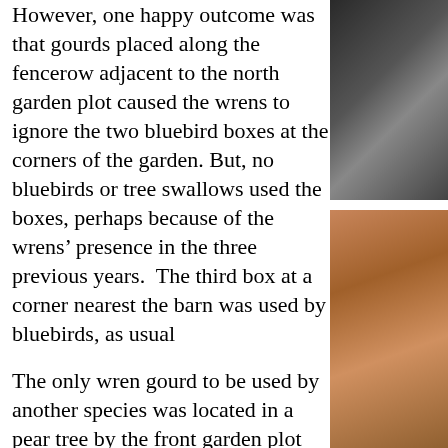However, one happy outcome was that gourds placed along the fencerow adjacent to the north garden plot caused the wrens to ignore the two bluebird boxes at the corners of the garden. But, no bluebirds or tree swallows used the boxes, perhaps because of the wrens' presence in the three previous years.  The third box at a corner nearest the barn was used by bluebirds, as usual
[Figure (photo): Two photo panels on the right side of the page. Top panel shows a dark/shadowed subject (possibly a bird box or gourd). Bottom panel shows a warm brown/wooden surface or structure.]
The only wren gourd to be used by another species was located in a pear tree by the front garden plot and not near any other tall vegetation.  A pair of tree swallows chose this site because it was a short distance from...